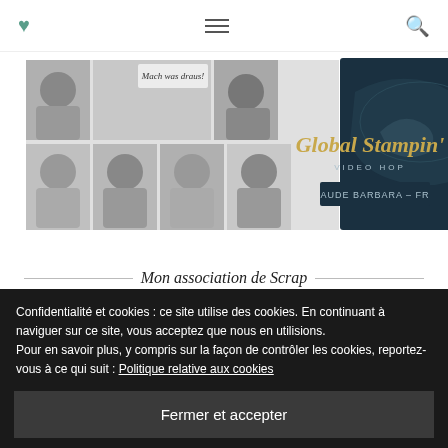♥  ≡  🔍
[Figure (screenshot): Global Stampin' Video Hop banner with group of women photos on left and gold/dark teal logo on right with world map]
Mon association de Scrap
[Figure (logo): Partial logo with decorative circular letters, partially hidden by cookie overlay]
Confidentialité et cookies : ce site utilise des cookies. En continuant à naviguer sur ce site, vous acceptez que nous en utilisions.
Pour en savoir plus, y compris sur la façon de contrôler les cookies, reportez-vous à ce qui suit : Politique relative aux cookies
Fermer et accepter